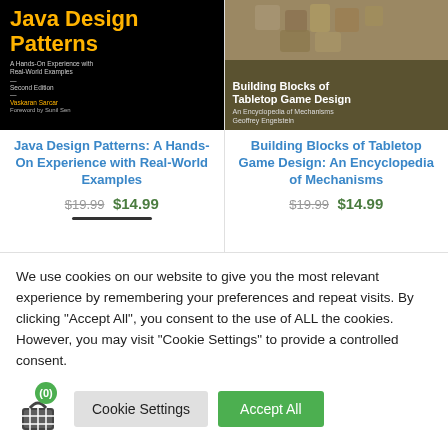[Figure (illustration): Book cover for 'Java Design Patterns: A Hands-On Experience with Real-World Examples, Second Edition' by Vaskaran Sarcar, black background with yellow title text]
[Figure (illustration): Book cover for 'Building Blocks of Tabletop Game Design: An Encyclopedia of Mechanisms' by Geoffrey Engelstein, dark olive/brown background with wooden blocks photo]
Java Design Patterns: A Hands-On Experience with Real-World Examples
$19.99 $14.99
Building Blocks of Tabletop Game Design: An Encyclopedia of Mechanisms
$19.99 $14.99
We use cookies on our website to give you the most relevant experience by remembering your preferences and repeat visits. By clicking "Accept All", you consent to the use of ALL the cookies. However, you may visit "Cookie Settings" to provide a controlled consent.